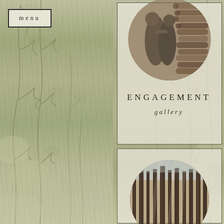[Figure (photo): Full page background: muted olive-green nature scene with bare branches and foliage, split into left and right columns flanking a central panel]
menu
[Figure (photo): Top central card with circular cropped photo of couple embracing near stacked firewood, overlaid on a semi-transparent cream panel with border]
ENGAGEMENT
gallery
[Figure (photo): Bottom central card with circular cropped photo of tall forest pine trees viewed from below, overlaid on a semi-transparent cream panel with border]